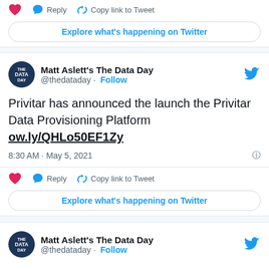[Figure (screenshot): Twitter action bar with heart icon, Reply button, and Copy link to Tweet button]
Explore what's happening on Twitter
[Figure (screenshot): Twitter user avatar for Matt Aslett's The Data Day with Twitter bird icon]
Matt Aslett's The Data Day @thedataday · Follow
Privitar has announced the launch the Privitar Data Provisioning Platform ow.ly/QHLo50EF1Zy
8:30 AM · May 5, 2021
[Figure (screenshot): Twitter action bar with heart icon, Reply button, and Copy link to Tweet button]
Explore what's happening on Twitter
[Figure (screenshot): Twitter user avatar for Matt Aslett's The Data Day with Twitter bird icon]
Matt Aslett's The Data Day @thedataday · Follow